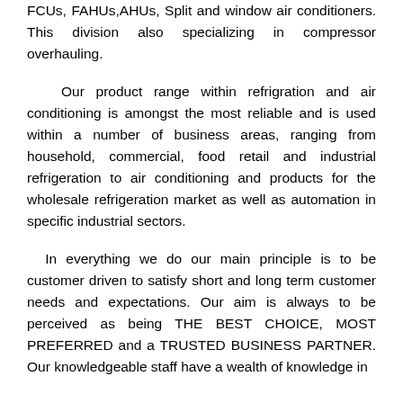FCUs, FAHUs, AHUs, Split and window air conditioners. This division also specializing in compressor overhauling.
Our product range within refrigration and air conditioning is amongst the most reliable and is used within a number of business areas, ranging from household, commercial, food retail and industrial refrigeration to air conditioning and products for the wholesale refrigeration market as well as automation in specific industrial sectors.
In everything we do our main principle is to be customer driven to satisfy short and long term customer needs and expectations. Our aim is always to be perceived as being THE BEST CHOICE, MOST PREFERRED and a TRUSTED BUSINESS PARTNER. Our knowledgeable staff have a wealth of knowledge in